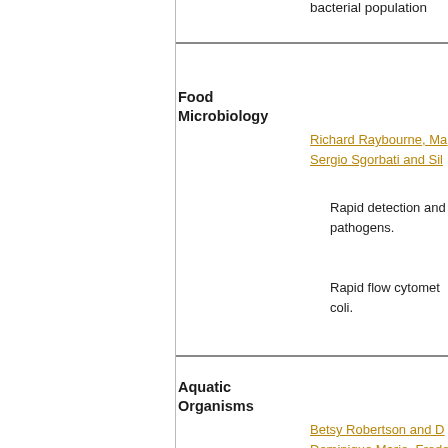bacterial population
Food Microbiology
Richard Raybourne, Ma... Sergio Sgorbati and Sil...
Rapid detection and pathogens.
Rapid flow cytometry... coli.
Aquatic Organisms
Betsy Robertson and D... Dominique Marie, Frede... Dominique Marie, Dani... Stephan Jacquet Jaume Comas-Riu and ... Hazel DaveyMichael Si...
Aquatic bacteria.
Flow cytometry in d...
Analysis of marine
Autofluorescence o...
Algae autofluoresc...